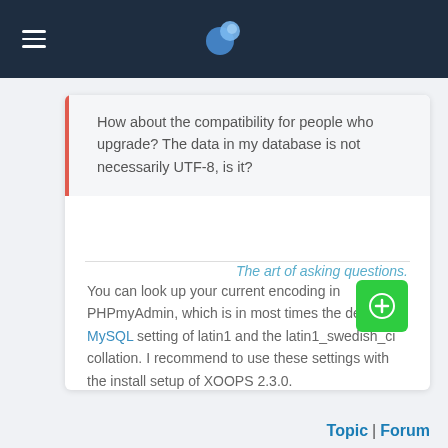Navigation bar with hamburger menu and globe logo
How about the compatibility for people who upgrade? The data in my database is not necessarily UTF-8, is it?
You can look up your current encoding in PHPmyAdmin, which is in most times the default MySQL setting of latin1 and the latin1_swedish_ci collation. I recommend to use these settings with the install setup of XOOPS 2.3.0.
The art of asking questions.
Topic | Forum